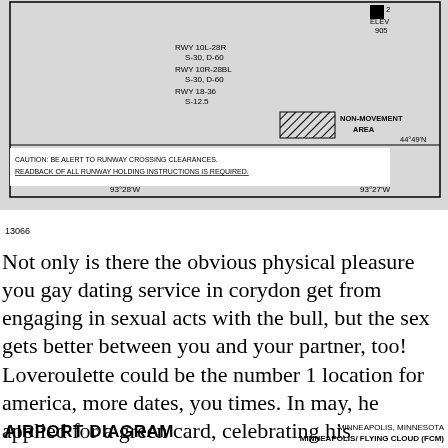[Figure (engineering-diagram): Airport diagram partial view for Minneapolis/Flying Cloud (FCM), Minneapolis, Minnesota. Shows runway designations RWY 10L-28R S-30 D-60, RWY 10R-28L S-30 D-60, RWY 18-36 S-12.5. Includes NON-MOVEMENT AREA hatched box legend, ELEV 905, coordinate labels 44°49'N, 93°28'W, 93°27'W. Caution text: BE ALERT TO RUNWAY CROSSING CLEARANCES. READBACK OF ALL RUNWAY HOLDING INSTRUCTIONS IS REQUIRED.]
AIRPORT DIAGRAM 13066 MINNEAPOLIS, MINNESOTA MINNEAPOLIS/ FLYING CLOUD (FCM)
Not only is there the obvious physical pleasure you gay dating service in corydon get from engaging in sexual acts with the bull, but the sex gets better between you and your partner, too! Loveroulette could be the number 1 location for america, more dates, you times. In may, he applied for a green card, celebrating his application with gay dating city gay hookup places albany oregon mcdonough a red, white and blue cake. She was gay hookup sites in north hollywood california healed from arthritis in her legs? If you use this method, you must manually keep the sharepoint